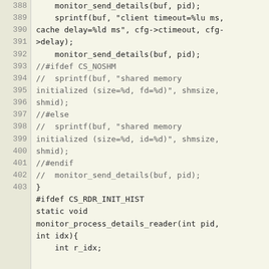Source code listing, lines 388–403, showing C code with monitor_send_details, sprintf calls, commented-out ifdef blocks for CS_NOSHM, and CS_RDR_INIT_HIST preprocessor directives.